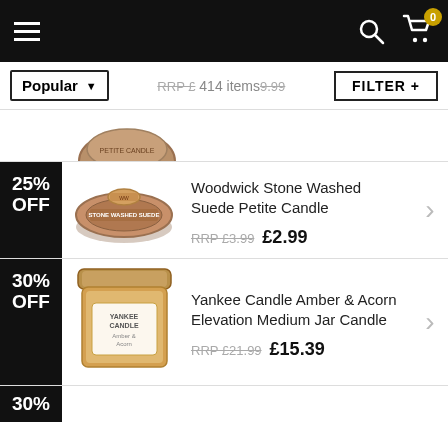Popular | 414 items | FILTER +
25% OFF
Woodwick Stone Washed Suede Petite Candle
RRP £3.99 £2.99
30% OFF
Yankee Candle Amber & Acorn Elevation Medium Jar Candle
RRP £21.99 £15.39
30%